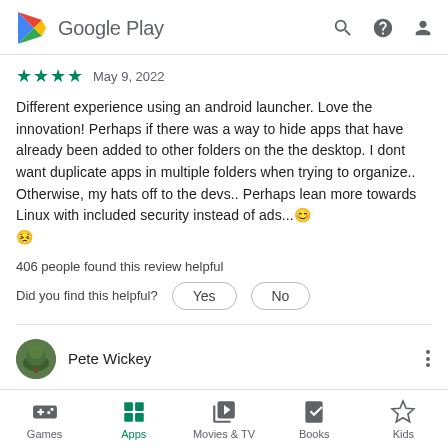Google Play
★★★★ May 9, 2022
Different experience using an android launcher. Love the innovation! Perhaps if there was a way to hide apps that have already been added to other folders on the the desktop. I dont want duplicate apps in multiple folders when trying to organize.. Otherwise, my hats off to the devs.. Perhaps lean more towards Linux with included security instead of ads...😊😣
406 people found this review helpful
Did you find this helpful?  Yes  No
Pete Wickey
★★★★ June 20, 2020
Games  Apps  Movies & TV  Books  Kids